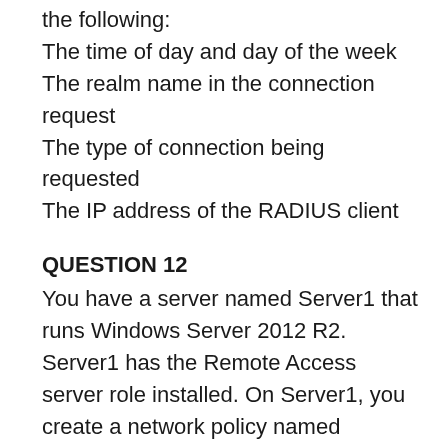the following:
The time of day and day of the week
The realm name in the connection request
The type of connection being requested
The IP address of the RADIUS client
QUESTION 12
You have a server named Server1 that runs Windows Server 2012 R2. Server1 has the Remote Access server role installed. On Server1, you create a network policy named PPTP_Policy. You need to configure PPTP_Policy to apply only to VPN connections that use the PPTP protocol. What should you configure in PPTP_Policy?
A.   The Service Type